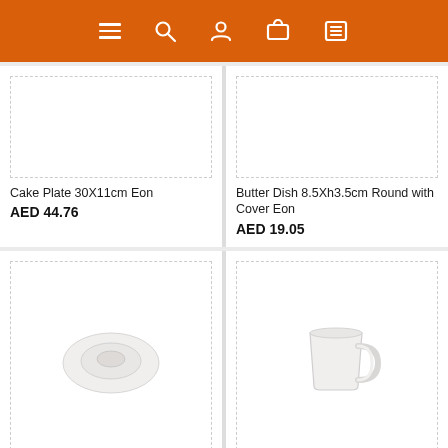[Figure (screenshot): Orange navigation bar with hamburger menu, search, user, cart, and list icons in white]
[Figure (photo): Empty white product image box for Cake Plate 30X11cm Eon]
Cake Plate 30X11cm Eon
AED 44.76
[Figure (photo): Empty white product image box for Butter Dish 8.5Xh3.5cm Round with Cover Eon]
Butter Dish 8.5Xh3.5cm Round with Cover Eon
AED 19.05
[Figure (photo): White ceramic saucer/small plate on white background with WhatsApp chat button in teal]
[Figure (photo): White ceramic mug with handle on white background]